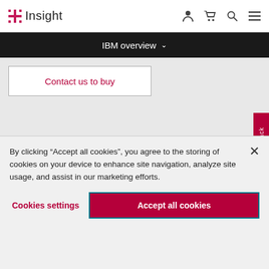Insight [logo]
IBM overview
Contact us to buy
[Figure (illustration): A laptop or thin device shown at an angle from above, rendered in silver/white tones on a light grey background.]
Feedback
By clicking “Accept all cookies”, you agree to the storing of cookies on your device to enhance site navigation, analyze site usage, and assist in our marketing efforts.
Cookies settings
Accept all cookies